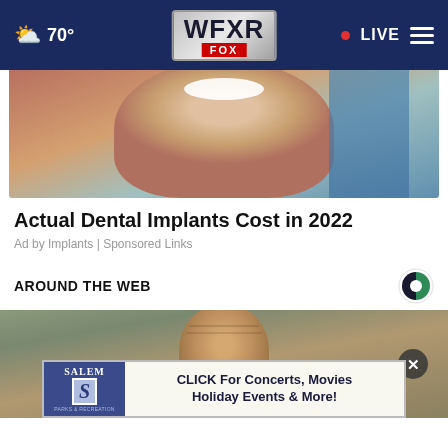WFXR FOX | 70° | LIVE
[Figure (photo): Smiling woman with red hair at dental office, promotional image for dental implants ad]
Actual Dental Implants Cost in 2022
Ad by Implants | Sponsored Links
AROUND THE WEB
[Figure (logo): Taboola logo — circular icon with green and dark segments]
[Figure (photo): Close-up portrait of an elderly man, around the web content image, with grey X close button on right]
[Figure (infographic): Salem Parks & Recreation banner ad: CLICK For Concerts, Movies Holiday Events & More!]